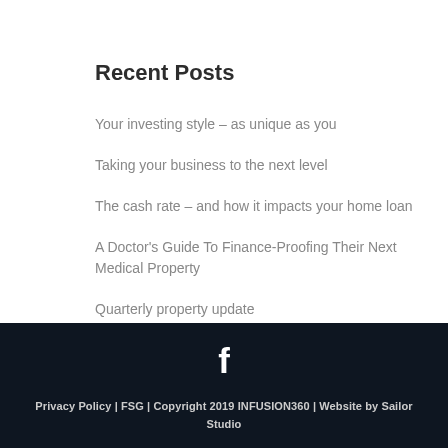Recent Posts
Your investing style – as unique as you
Taking your business to the next level
The cash rate – and how it impacts your home loan
A Doctor's Guide To Finance-Proofing Their Next Medical Property
Quarterly property update
Privacy Policy | FSG | Copyright 2019 INFUSION360 | Website by Sailor Studio